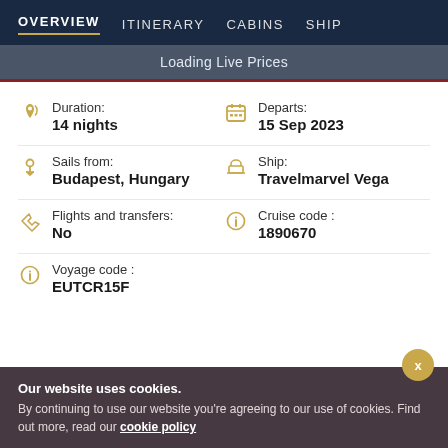OVERVIEW  ITINERARY  CABINS  SHIP
Loading Live Prices
Duration:
14 nights
Departs:
15 Sep 2023
Sails from:
Budapest, Hungary
Ship:
Travelmarvel Vega
Flights and transfers:
No
Cruise code :
1890670
Voyage code :
EUTCR15F
Our website uses cookies.
By continuing to use our website you're agreeing to our use of cookies. Find out more, read our cookie policy